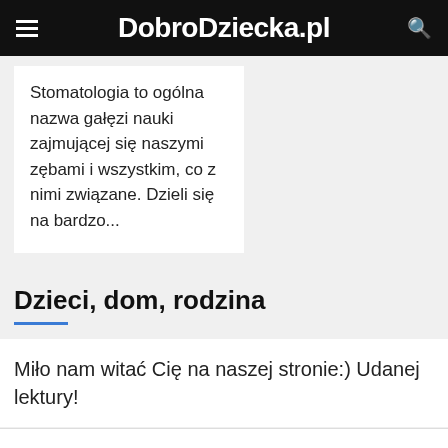DobroDziecka.pl
Stomatologia to ogólna nazwa gałęzi nauki zajmującej się naszymi zębami i wszystkim, co z nimi związane. Dzieli się na bardzo...
Dzieci, dom, rodzina
Miło nam witać Cię na naszej stronie:) Udanej lektury!
Ta strona korzysta z ciasteczek aby świadczyć usługi na najwyższym poziomie. Dalsze korzystanie ze strony oznacza, że zgadzasz się na ich użycie. Akceptuj  Odrzuć  Wiecej